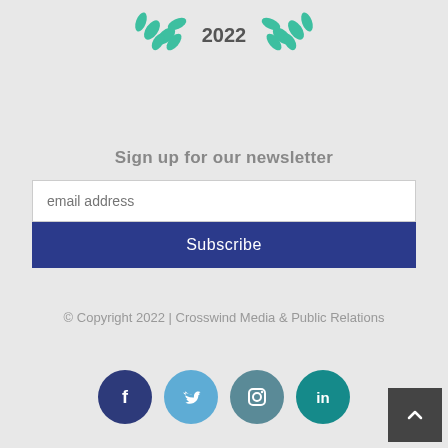[Figure (illustration): Laurel wreath decoration with teal/green leaves and the year 2022 in the center, partially visible at top]
Sign up for our newsletter
[Figure (screenshot): Email input field with placeholder text 'email address' and a dark blue Subscribe button below it]
© Copyright 2022 | Crosswind Media & Public Relations
[Figure (infographic): Social media icons: Facebook (dark blue circle), Twitter (light blue circle), Instagram (teal-grey circle), LinkedIn (teal circle). Dark grey scroll-to-top button with caret in bottom right.]